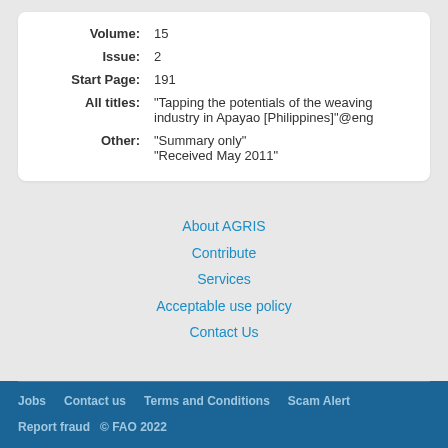| Volume: | 15 |
| Issue: | 2 |
| Start Page: | 191 |
| All titles: | "Tapping the potentials of the weaving industry in Apayao [Philippines]"@eng |
| Other: | "Summary only"
"Received May 2011" |
About AGRIS
Contribute
Services
Acceptable use policy
Contact Us
Jobs   Contact us   Terms and Conditions   Scam Alert   Report fraud   © FAO 2022